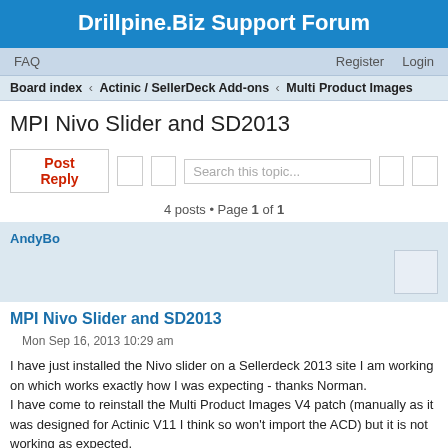Drillpine.Biz Support Forum
FAQ   Register   Login
Board index ‹ Actinic / SellerDeck Add-ons ‹ Multi Product Images
MPI Nivo Slider and SD2013
Post Reply   Search this topic...
4 posts • Page 1 of 1
AndyBo
MPI Nivo Slider and SD2013
Mon Sep 16, 2013 10:29 am
I have just installed the Nivo slider on a Sellerdeck 2013 site I am working on which works exactly how I was expecting - thanks Norman.
I have come to reinstall the Multi Product Images V4 patch (manually as it was designed for Actinic V11 I think so won't import the ACD) but it is not working as expected.
Before I spend time trying to sort it out can you tell me if these two patches should work together on a SD 2013 site or do I need to upgrade